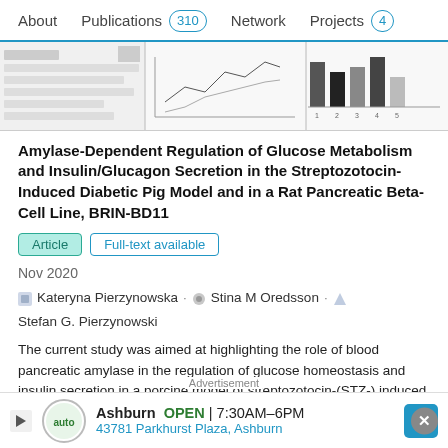About   Publications 310   Network   Projects 4
[Figure (screenshot): Thumbnail strip of scientific figures from the paper — graphs and bar charts]
Amylase-Dependent Regulation of Glucose Metabolism and Insulin/Glucagon Secretion in the Streptozotocin-Induced Diabetic Pig Model and in a Rat Pancreatic Beta-Cell Line, BRIN-BD11
Article   Full-text available
Nov 2020
Kateryna Pierzynowska · Stina M Oredsson · Stefan G. Pierzynowski
The current study was aimed at highlighting the role of blood pancreatic amylase in the regulation of glucose homeostasis and insulin secretion in a porcine model of streptozotocin-(STZ-) induced diabetes and in a rat pancreatic beta-cell line, BRIN-BD11. Blood glucose, plasma insulin, and glucagon levels were measured following a duodenal glucose
Advertisement  Ashburn OPEN | 7:30AM–6PM  43781 Parkhurst Plaza, Ashburn